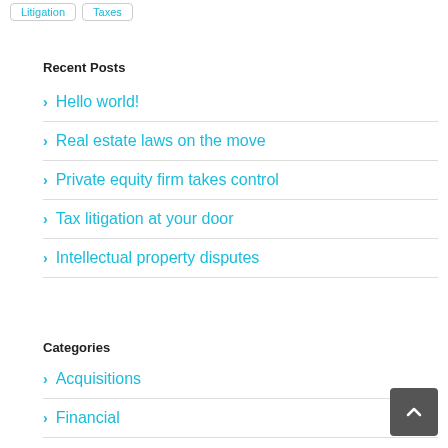Litigation
Taxes
Recent Posts
Hello world!
Real estate laws on the move
Private equity firm takes control
Tax litigation at your door
Intellectual property disputes
Categories
Acquisitions
Financial
Governments